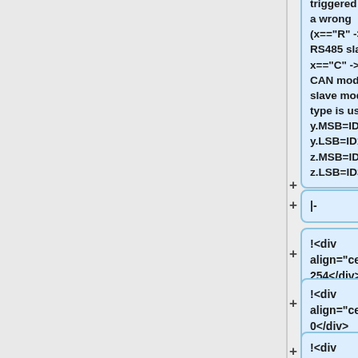triggered when a wrong (x=="R" -> RS485 slave, x=="C" -> Micro CAN module) slave module type is used. y.MSB=ID0, y.LSB=ID1, z.MSB=ID2, z.LSB=ID3
|-
!<div align="center">254</div>
!<div align="center">0</div>
!<div align="center">